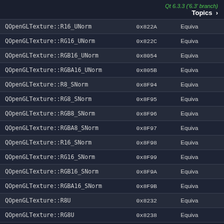Qt 6.3.3 ('6.3' branch)  Topics >
| Constant | Value | Description |
| --- | --- | --- |
| QOpenGLTexture::R16_UNorm | 0x822A | Equiva |
| QOpenGLTexture::RG16_UNorm | 0x822C | Equiva |
| QOpenGLTexture::RGB16_UNorm | 0x8054 | Equiva |
| QOpenGLTexture::RGBA16_UNorm | 0x805B | Equiva |
| QOpenGLTexture::R8_SNorm | 0x8F94 | Equiva |
| QOpenGLTexture::RG8_SNorm | 0x8F95 | Equiva |
| QOpenGLTexture::RGB8_SNorm | 0x8F96 | Equiva |
| QOpenGLTexture::RGBA8_SNorm | 0x8F97 | Equiva |
| QOpenGLTexture::R16_SNorm | 0x8F98 | Equiva |
| QOpenGLTexture::RG16_SNorm | 0x8F99 | Equiva |
| QOpenGLTexture::RGB16_SNorm | 0x8F9A | Equiva |
| QOpenGLTexture::RGBA16_SNorm | 0x8F9B | Equiva |
| QOpenGLTexture::R8U | 0x8232 | Equiva |
| QOpenGLTexture::RG8U | 0x8238 | Equiva |